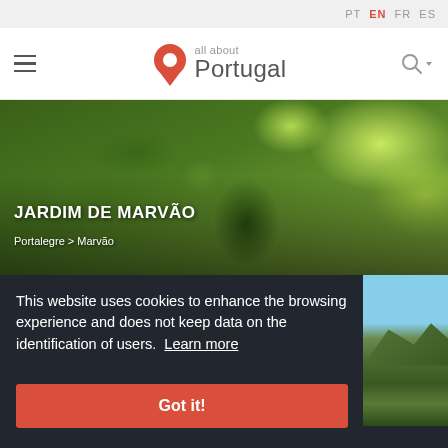PT  EN  FR  ES
[Figure (logo): All about Portugal logo with red pin icon]
[Figure (photo): Aerial view of Jardim de Marvão garden with green terraced vegetation and steps]
JARDIM DE MARVÃO
Portalegre > Marvão
This website uses cookies to enhance the browsing experience and does not keep data on the identification of users. Learn more
Got it!